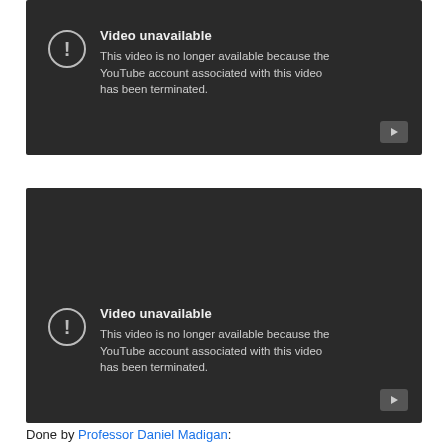[Figure (screenshot): YouTube 'Video unavailable' error screen (first). Dark background with exclamation circle icon and text: 'Video unavailable — This video is no longer available because the YouTube account associated with this video has been terminated.' Play button in bottom-right corner.]
[Figure (screenshot): YouTube 'Video unavailable' error screen (second). Dark background with exclamation circle icon and text: 'Video unavailable — This video is no longer available because the YouTube account associated with this video has been terminated.' Play button in bottom-right corner.]
Done by Professor Daniel Madigan: